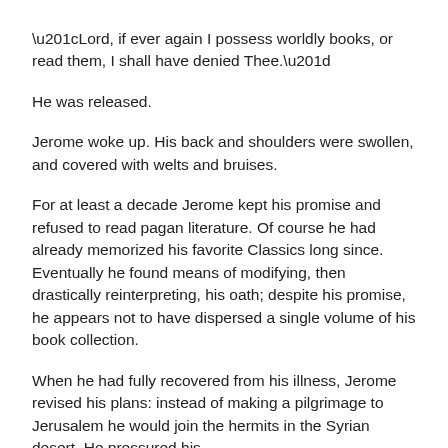“Lord, if ever again I possess worldly books, or read them, I shall have denied Thee.”
He was released.
Jerome woke up. His back and shoulders were swollen, and covered with welts and bruises.
For at least a decade Jerome kept his promise and refused to read pagan literature. Of course he had already memorized his favorite Classics long since. Eventually he found means of modifying, then drastically reinterpreting, his oath; despite his promise, he appears not to have dispersed a single volume of his book collection.
When he had fully recovered from his illness, Jerome revised his plans: instead of making a pilgrimage to Jerusalem he would join the hermits in the Syrian desert. He pressured his